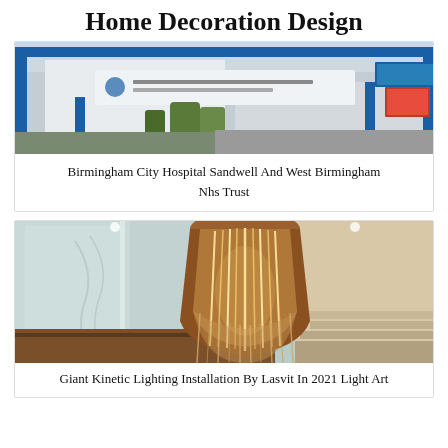Home Decoration Design
[Figure (photo): Exterior of Birmingham City Hospital with blue entrance signage and NHS sign visible in foreground]
Birmingham City Hospital Sandwell And West Birmingham Nhs Trust
[Figure (photo): Interior of a luxury lobby featuring a large sculptural kinetic chandelier with warm copper tones and cascading crystal elements, frosted glass walls in background]
Giant Kinetic Lighting Installation By Lasvit In 2021 Light Art